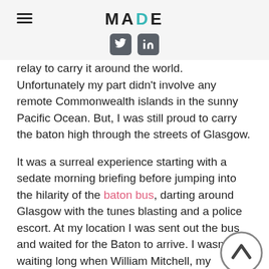MADE
relay to carry it around the world. Unfortunately my part didn't involve any remote Commonwealth islands in the sunny Pacific Ocean. But, I was still proud to carry the baton high through the streets of Glasgow.
It was a surreal experience starting with a sedate morning briefing before jumping into the hilarity of the baton bus, darting around Glasgow with the tunes blasting and a police escort. At my location I was sent out the bus and waited for the Baton to arrive. I wasn't waiting long when William Mitchell, my